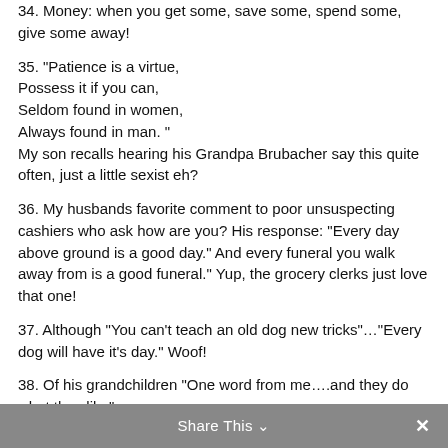34. Money: when you get some, save some, spend some, give some away!
35. "Patience is a virtue, Possess it if you can, Seldom found in women, Always found in man. " My son recalls hearing his Grandpa Brubacher say this quite often, just a little sexist eh?
36. My husbands favorite comment to poor unsuspecting cashiers who ask how are you? His response: "Every day above ground is a good day." And every funeral you walk away from is a good funeral." Yup, the grocery clerks just love that one!
37. Although "You can't teach an old dog new tricks"..."Every dog will have it's day." Woof!
38. Of his grandchildren "One word from me....and they do what they like"
Share This